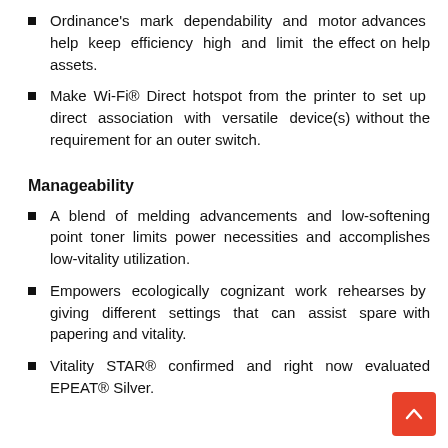Ordinance's mark dependability and motor advances help keep efficiency high and limit the effect on help assets.
Make Wi-Fi® Direct hotspot from the printer to set up direct association with versatile device(s) without the requirement for an outer switch.
Manageability
A blend of melding advancements and low-softening point toner limits power necessities and accomplishes low-vitality utilization.
Empowers ecologically cognizant work rehearses by giving different settings that can assist spare with papering and vitality.
Vitality STAR® confirmed and right now evaluated EPEAT® Silver.